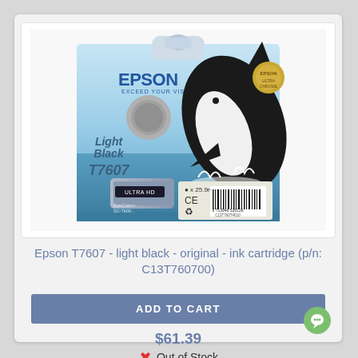[Figure (photo): Epson T7607 light black ink cartridge product photo showing packaging with orca/killer whale design, Light Black label, T7607 model number, 25.9ml volume, barcode, and CE mark]
Epson T7607 - light black - original - ink cartridge (p/n: C13T760700)
ADD TO CART
$61.39
Out of Stock